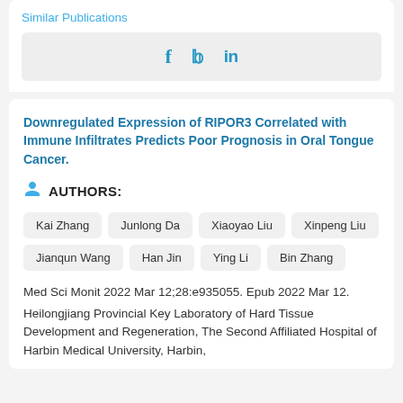Similar Publications
[Figure (infographic): Social sharing icons: Facebook (f), Twitter (bird), LinkedIn (in) in blue on a light grey background bar]
Downregulated Expression of RIPOR3 Correlated with Immune Infiltrates Predicts Poor Prognosis in Oral Tongue Cancer.
AUTHORS:
Kai Zhang
Junlong Da
Xiaoyao Liu
Xinpeng Liu
Jianqun Wang
Han Jin
Ying Li
Bin Zhang
Med Sci Monit 2022 Mar 12;28:e935055. Epub 2022 Mar 12.
Heilongjiang Provincial Key Laboratory of Hard Tissue Development and Regeneration, The Second Affiliated Hospital of Harbin Medical University, Harbin,